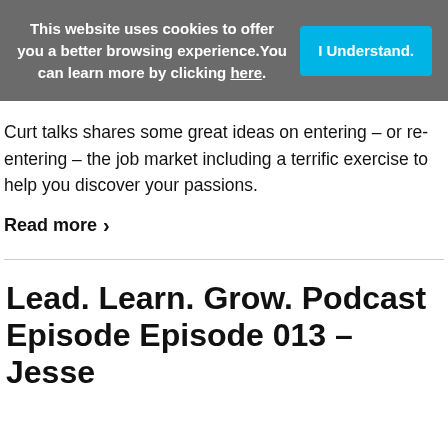This website uses cookies to offer you a better browsing experience. You can learn more by clicking here.
I Understand.
Curt talks shares some great ideas on entering - or re-entering - the job market including a terrific exercise to help you discover your passions.
Read more ›
Lead. Learn. Grow. Podcast Episode Episode 013 – Jesse